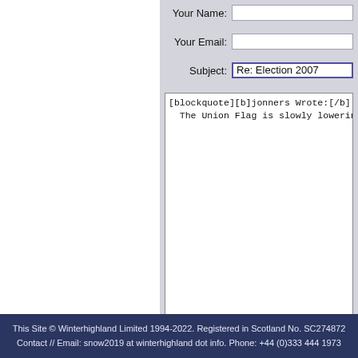Your Name:
Your Email:
Subject: Re: Election 2007
[blockquote][b]jonners Wrote:[/b]
  The Union Flag is slowly lowering
This Site © Winterhighland Limited 1994-2022. Registered in Scotland No. SC274872
Contact // Email: snow2019 at winterhighland dot info. Phone: +44 (0)333 444 1973